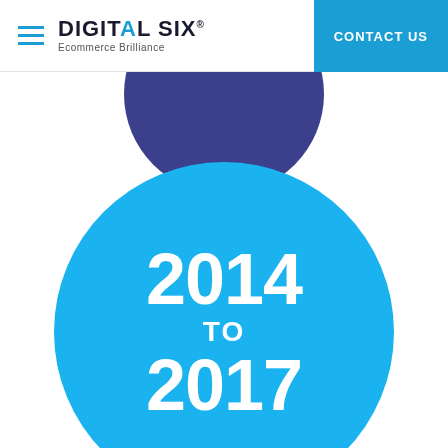DIGITAL SIX Ecommerce Brilliance | CONTACT US
[Figure (infographic): Two circles: a dark navy/indigo circle partially visible at top, and a large bright blue circle below containing the text '2014 TO 2017' in bold white lettering.]